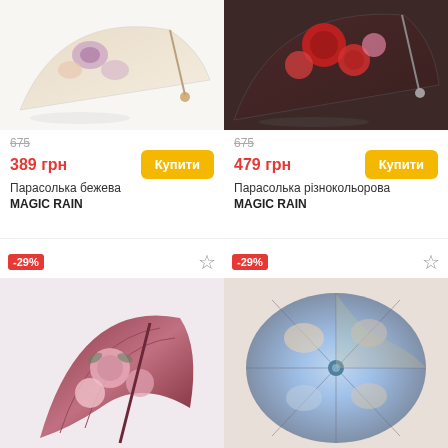[Figure (photo): Floral patterned umbrella (beige/pink flowers) - top portion visible]
[Figure (photo): Floral patterned umbrella (red roses on dark background) - top portion visible]
675
389 грн
Парасолька бежева
MAGIC RAIN
675
479 грн
Парасолька різнокольорова
MAGIC RAIN
-29%
-29%
[Figure (photo): Folded umbrella with pink roses on burgundy/mauve background]
[Figure (photo): Open umbrella viewed from above with colorful painting/illustration pattern]